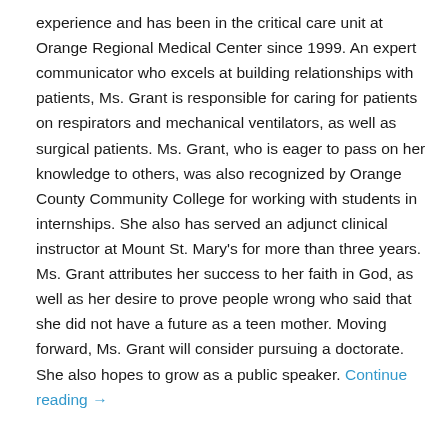experience and has been in the critical care unit at Orange Regional Medical Center since 1999. An expert communicator who excels at building relationships with patients, Ms. Grant is responsible for caring for patients on respirators and mechanical ventilators, as well as surgical patients. Ms. Grant, who is eager to pass on her knowledge to others, was also recognized by Orange County Community College for working with students in internships. She also has served an adjunct clinical instructor at Mount St. Mary's for more than three years. Ms. Grant attributes her success to her faith in God, as well as her desire to prove people wrong who said that she did not have a future as a teen mother. Moving forward, Ms. Grant will consider pursuing a doctorate. She also hopes to grow as a public speaker. Continue reading →